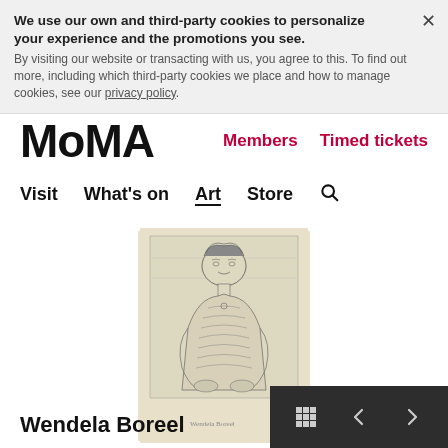We use our own and third-party cookies to personalize your experience and the promotions you see. By visiting our website or transacting with us, you agree to this. To find out more, including which third-party cookies we place and how to manage cookies, see our privacy policy.
MoMA  Members  Timed tickets
Visit  What's on  Art  Store  🔍
[Figure (photo): Black and white etching/print portrait of a woman (Wendela Boreel) seated, shown from the torso up, with curly hair and period clothing, on cream-colored paper]
Wendela Boreel